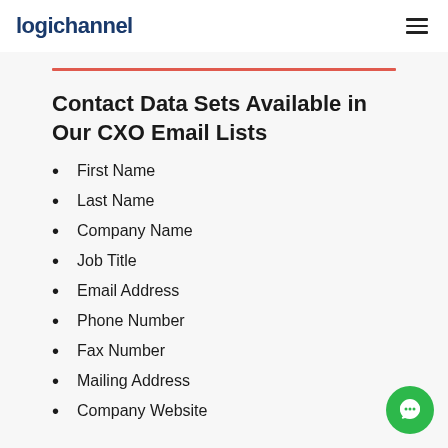logichannel
Contact Data Sets Available in Our CXO Email Lists
First Name
Last Name
Company Name
Job Title
Email Address
Phone Number
Fax Number
Mailing Address
Company Website